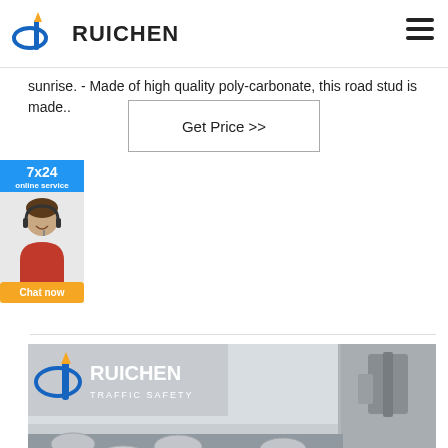RUICHEN
sunrise. - Made of high quality poly-carbonate, this road stud is made..
Get Price >>
[Figure (photo): Sidebar widget showing 7x24 online service with a customer service representative photo and Chat now button]
[Figure (photo): Ruichen Traffic Safety factory photo showing road studs on a conveyor belt with robotic machinery in the background and the Ruichen Traffic Safety logo overlay]